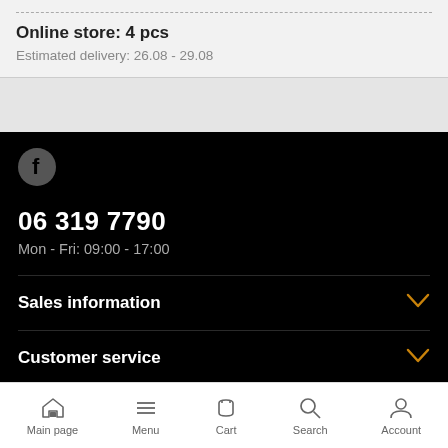Online store: 4 pcs
Estimated delivery: 26.08 - 29.08
06 319 7790
Mon - Fri: 09:00 - 17:00
Sales information
Customer service
Main page | Menu | Cart | Search | Account